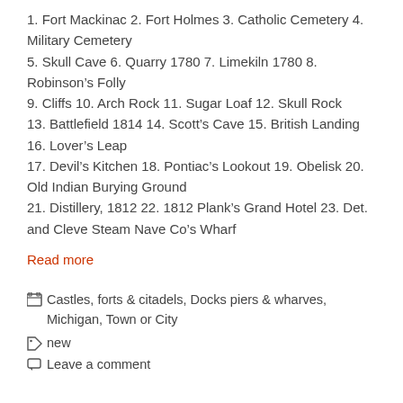1. Fort Mackinac 2. Fort Holmes 3. Catholic Cemetery 4. Military Cemetery
5. Skull Cave 6. Quarry 1780 7. Limekiln 1780 8. Robinson’s Folly
9. Cliffs 10. Arch Rock 11. Sugar Loaf 12. Skull Rock
13. Battlefield 1814 14. Scott’s Cave 15. British Landing 16. Lover’s Leap
17. Devil’s Kitchen 18. Pontiac’s Lookout 19. Obelisk 20. Old Indian Burying Ground
21. Distillery, 1812 22. 1812 Plank’s Grand Hotel 23. Det. and Cleve Steam Nave Co’s Wharf
Read more
Castles, forts & citadels, Docks piers & wharves, Michigan, Town or City
new
Leave a comment